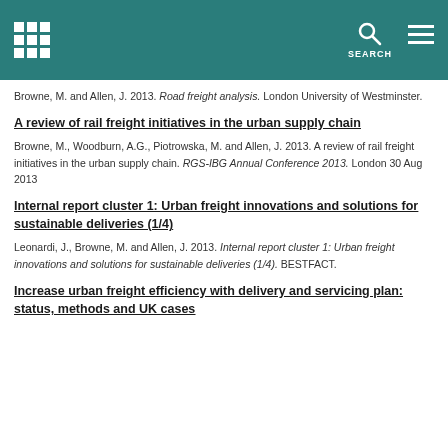SEARCH
Browne, M. and Allen, J. 2013. Road freight analysis. London University of Westminster.
A review of rail freight initiatives in the urban supply chain
Browne, M., Woodburn, A.G., Piotrowska, M. and Allen, J. 2013. A review of rail freight initiatives in the urban supply chain. RGS-IBG Annual Conference 2013. London 30 Aug 2013
Internal report cluster 1: Urban freight innovations and solutions for sustainable deliveries (1/4)
Leonardi, J., Browne, M. and Allen, J. 2013. Internal report cluster 1: Urban freight innovations and solutions for sustainable deliveries (1/4). BESTFACT.
Increase urban freight efficiency with delivery and servicing plan: status, methods and UK cases